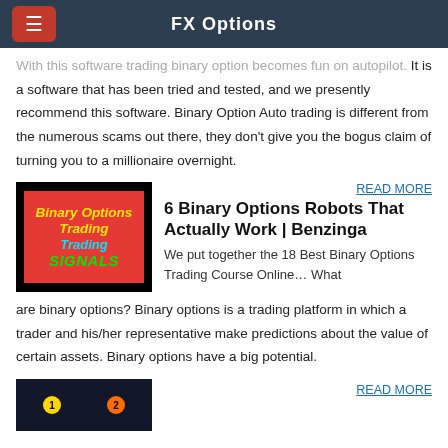FX Options
With this software trading binary option becomes fun on autopilot. It is a software that has been tried and tested, and we presently recommend this software. Binary Option Auto trading is different from the numerous scams out there, they don’t give you the bogus claim of turning you to a millionaire overnight.
[Figure (illustration): Red background image with yellow text 'Binary Options', cyan text 'Trading', and green text 'SIGNALS']
READ MORE
6 Binary Options Robots That Actually Work | Benzinga
We put together the 18 Best Binary Options Trading Course Online… What are binary options? Binary options is a trading platform in which a trader and his/her representative make predictions about the value of certain assets. Binary options have a big potential.
[Figure (screenshot): Dark screenshot with numbered yellow and orange circles]
READ MORE